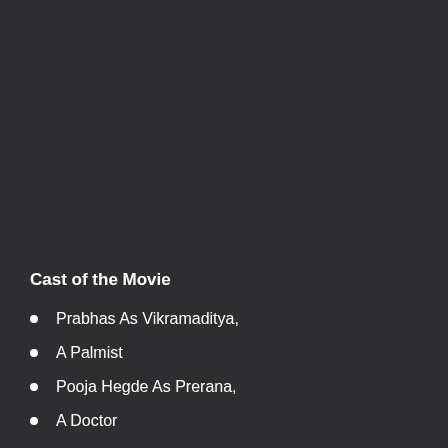Cast of the Movie
Prabhas As Vikramaditya,
A Palmist
Pooja Hegde As Prerana,
A Doctor